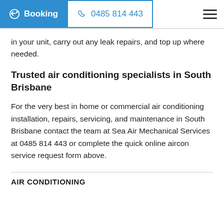Booking | 0485 814 443
in your unit, carry out any leak repairs, and top up where needed.
Trusted air conditioning specialists in South Brisbane
For the very best in home or commercial air conditioning installation, repairs, servicing, and maintenance in South Brisbane contact the team at Sea Air Mechanical Services at 0485 814 443 or complete the quick online aircon service request form above.
AIR CONDITIONING